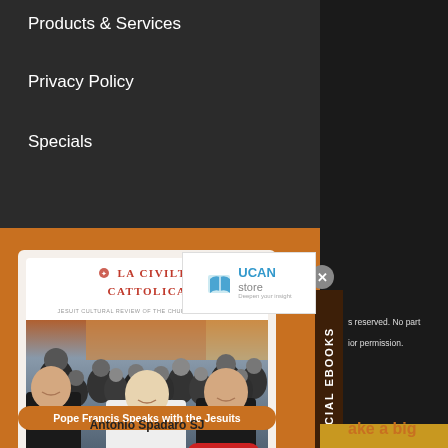Products & Services
Privacy Policy
Specials
[Figure (screenshot): UCAN Store logo with open book icon in blue, text 'UCAN store' in blue]
[Figure (photo): Book cover: La Civiltà Cattolica — Pope Francis Speaks with the Jesuits by Antonio Spadaro SJ. Group photo of Pope Francis in white robes with Jesuit priests smiling. eBook badge in red at bottom right.]
Pope Francis Speaks with the Jesuits
Antonio Spadaro SJ
SPECIAL EBOOKS
s reserved. No part
ior permission.
ake a big